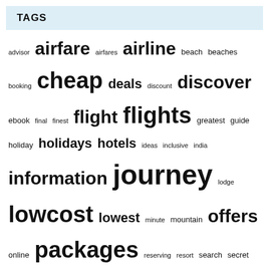TAGS
advisor airfare airfares airline beach beaches booking cheap deals discount discover ebook final finest flight flights greatest guide holiday holidays hotels ideas inclusive india information journey lodge lowcost lowest minute mountain offers online packages reserving resort search secret tickets travel vacation vacations websites world worldwide
September 2022